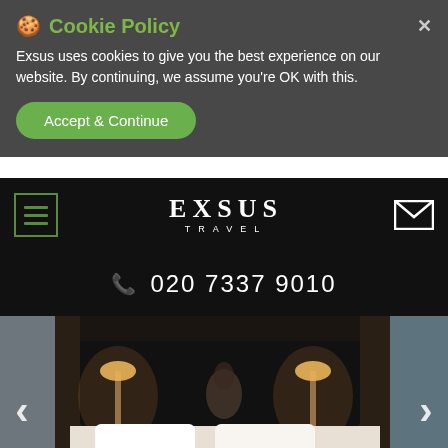🍪 Cookie Policy
Exsus uses cookies to give you the best experience on our website. By continuing, we assume you're OK with this.
Accept & Continue
[Figure (logo): EXSUS TRAVEL logo in white serif font on black background with hamburger menu icon and envelope icon]
020 7337 9010
[Figure (photo): Hotel room photo showing a luxurious white bed with dark headboard, warm lighting from bedside lamps, with carousel navigation arrows and dots]
SALA AYUTTHAYA
Location: Bangkok & Central Thailand | Thailand